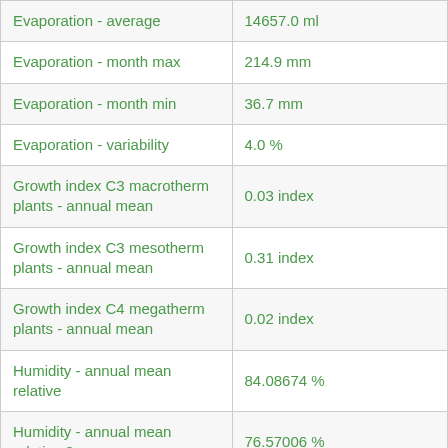| Parameter | Value |
| --- | --- |
| Evaporation - average | 14657.0 ml |
| Evaporation - month max | 214.9 mm |
| Evaporation - month min | 36.7 mm |
| Evaporation - variability | 4.0 % |
| Growth index C3 macrotherm plants - annual mean | 0.03 index |
| Growth index C3 mesotherm plants - annual mean | 0.31 index |
| Growth index C4 megatherm plants - annual mean | 0.02 index |
| Humidity - annual mean relative | 84.08674 % |
| Humidity - annual mean relative 3pm | 76.57006 % |
| Humidity - month max relative | 92.31634 % |
| Humidity - month max relative 3pm | 84.73859 % |
| Humidity - month min relative | 66.63558 % |